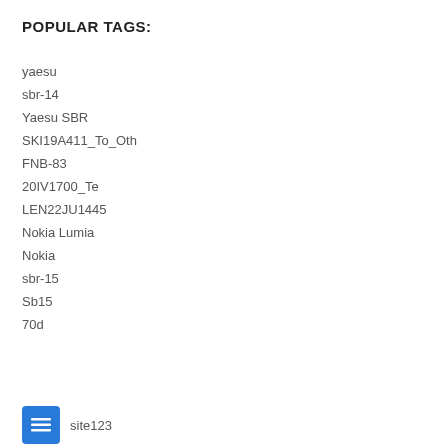POPULAR TAGS:
yaesu
sbr-14
Yaesu SBR
SKI19A411_To_Oth
FNB-83
20IV1700_Te
LEN22JU1445
Nokia Lumia
Nokia
sbr-15
Sb15
70d
site123